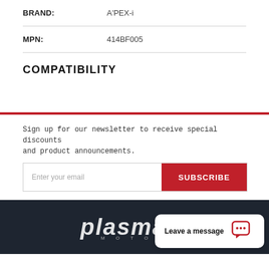BRAND: A'PEX-i
MPN: 414BF005
COMPATIBILITY
Sign up for our newsletter to receive special discounts and product announcements.
SUBSCRIBE
[Figure (logo): Plasma Motorsports logo in white italic text on dark background with 'MOTO' subtitle]
Leave a message